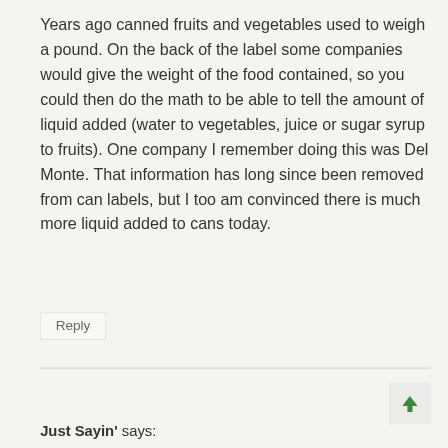Years ago canned fruits and vegetables used to weigh a pound. On the back of the label some companies would give the weight of the food contained, so you could then do the math to be able to tell the amount of liquid added (water to vegetables, juice or sugar syrup to fruits). One company I remember doing this was Del Monte. That information has long since been removed from can labels, but I too am convinced there is much more liquid added to cans today.
Reply
Just Sayin' says: